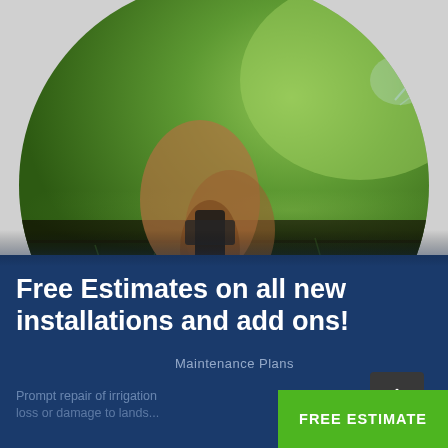[Figure (photo): Circular cropped photo of a person's hands working on an irrigation/sprinkler system installation in soil, with green grass and a sprinkler head visible in the background on the right]
Free Estimates on all new installations and add ons!
Maintenance Plans
Prompt repair of irrigation loss or damage to lands...
FREE ESTIMATE